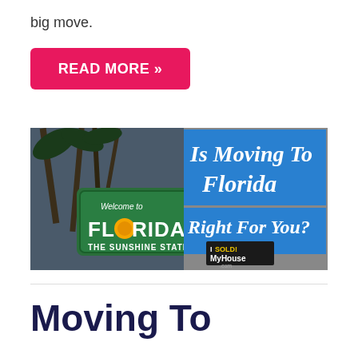big move.
READ MORE »
[Figure (illustration): Welcome to Florida - The Sunshine State sign with palm trees in background. Overlay text reads: Is Moving To Florida Right For You? ISoldMyHouse.com logo visible.]
Moving To